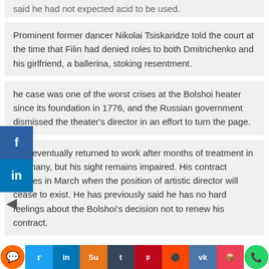said he had not expected acid to be used.
Prominent former dancer Nikolai Tsiskaridze told the court at the time that Filin had denied roles to both Dmitrichenko and his girlfriend, a ballerina, stoking resentment.
The case was one of the worst crises at the Bolshoi Theater since its foundation in 1776, and the Russian government dismissed the theater's director in an effort to turn the page.
Filin eventually returned to work after months of treatment in Germany, but his sight remains impaired. His contract expires in March when the position of artistic director will cease to exist. He has previously said he has no hard feelings about the Bolshoi's decision not to renew his contract.